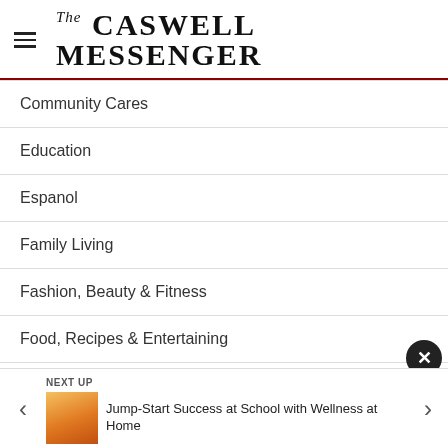The Caswell Messenger
Community Cares
Education
Espanol
Family Living
Fashion, Beauty & Fitness
Food, Recipes & Entertaining
Gift Ideas
NEXT UP
Jump-Start Success at School with Wellness at Home